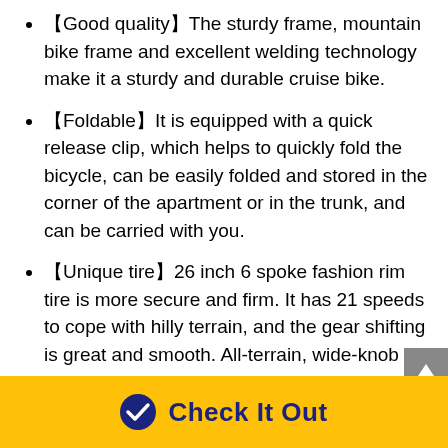【Good quality】The sturdy frame, mountain bike frame and excellent welding technology make it a sturdy and durable cruise bike.
【Foldable】It is equipped with a quick release clip, which helps to quickly fold the bicycle, can be easily folded and stored in the corner of the apartment or in the trunk, and can be carried with you.
【Unique tire】26 inch 6 spoke fashion rim tire is more secure and firm. It has 21 speeds to cope with hilly terrain, and the gear shifting is great and smooth. All-terrain, wide-knob mountain tires sit on lightweight and durable alloy wheels for added stability.
【Enjoy cycling】Stunt bikes are very suitable for
Check It Out